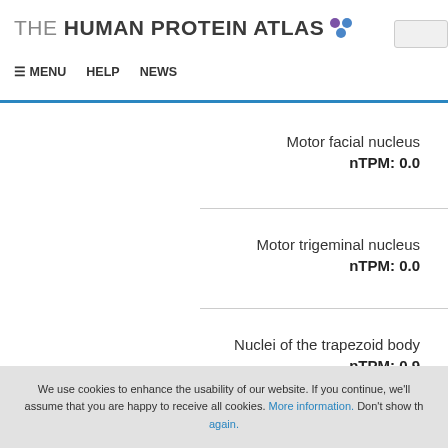THE HUMAN PROTEIN ATLAS
Motor facial nucleus
nTPM: 0.0
Motor trigeminal nucleus
nTPM: 0.0
Nuclei of the trapezoid body
nTPM: 0.9
We use cookies to enhance the usability of our website. If you continue, we'll assume that you are happy to receive all cookies. More information. Don't show this again.